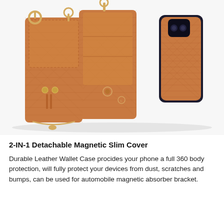[Figure (photo): Product photo showing a tan/brown woven leather 2-in-1 detachable wallet phone case from three angles: left view showing the wallet pouch with zipper and ring holder, center view showing the wallet open with card slots and snap button closure, and right view showing the slim phone case back cover. The case is caramel/orange-brown colored with a woven/quilted texture pattern and gold metal hardware.]
2-IN-1 Detachable Magnetic Slim Cover
Durable Leather Wallet Case procides your phone a full 360 body protection, will fully protect your devices from dust, scratches and bumps, can be used for automobile magnetic absorber bracket.